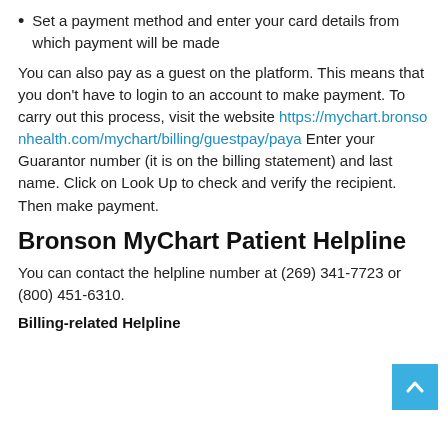Set a payment method and enter your card details from which payment will be made
You can also pay as a guest on the platform. This means that you don't have to login to an account to make payment. To carry out this process, visit the website https://mychart.bronsonhealth.com/mychart/billing/guestpay/paya Enter your Guarantor number (it is on the billing statement) and last name. Click on Look Up to check and verify the recipient. Then make payment.
Bronson MyChart Patient Helpline
You can contact the helpline number at (269) 341-7723 or (800) 451-6310.
Billing-related Helpline